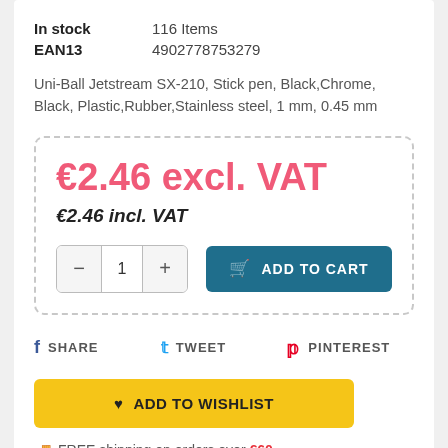| In stock | 116 Items |
| EAN13 | 4902778753279 |
Uni-Ball Jetstream SX-210, Stick pen, Black,Chrome, Black, Plastic,Rubber,Stainless steel, 1 mm, 0.45 mm
€2.46 excl. VAT
€2.46 incl. VAT
1 ADD TO CART
SHARE  TWEET  PINTEREST
♥ ADD TO WISHLIST
🚚 FREE shipping on orders over €60